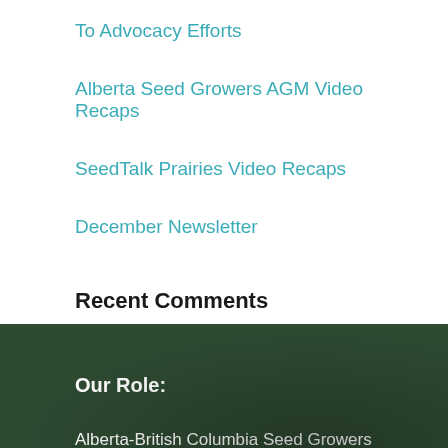To Advocacy Efforts
Alberta Seed Growers AGM Video Recaps
SeedTalk Prairies Video Recaps
December Newsletter
Recent Comments
Our Role:
Alberta-British Columbia Seed Growers (ABCSG) is one of seven provincial or branch seed associations that